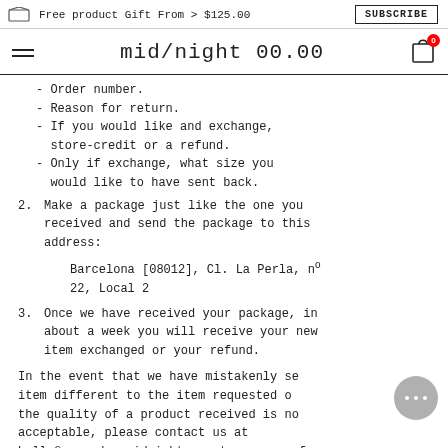Free product Gift From > $125.00   SUBSCRIBE
mid/night 00.00
- Order number.
- Reason for return.
- If you would like and exchange, store-credit or a refund.
- Only if exchange, what size you would like to have sent back.
2. Make a package just like the one you received and send the package to this address: Barcelona [08012], Cl. La Perla, nº 22, Local 2
3. Once we have received your package, in about a week you will receive your new item exchanged or your refund.
In the event that we have mistakenly sent an item different to the item requested or the quality of a product received is not acceptable, please contact us at hello@neworder-midnight.com to arrange for a